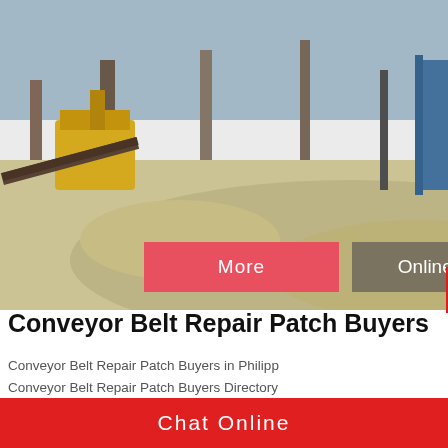[Figure (photo): Construction/mining site with conveyor belts, yellow machinery, blue structures, and sand piles]
[Figure (infographic): More button (red) and Online Chat button (gray-brown)]
[Figure (infographic): 24Hrs Online red badge]
Conveyor Belt Repair Patch Buyers
Conveyor Belt Repair Patch Buyers in Philippines Conveyor Belt Repair Patch Buyers Directory Philippines Conveyor Belt Repair Patch importers purchasers who wanted to import conveyor b
[Figure (photo): Customer service advisor wearing headset, smiling]
Need questions & suggestion?
Chat Now
[Figure (photo): Partial bottom image]
Chat Online
Enquire